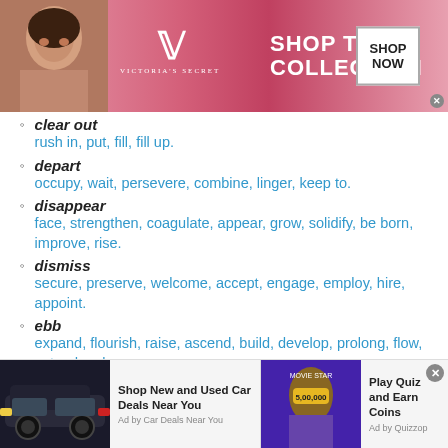[Figure (other): Victoria's Secret advertisement banner with model photo, VS logo, 'SHOP THE COLLECTION' text, and 'SHOP NOW' button]
clear out
rush in, put, fill, fill up.
depart
occupy, wait, persevere, combine, linger, keep to.
disappear
face, strengthen, coagulate, appear, grow, solidify, be born, improve, rise.
dismiss
secure, preserve, welcome, accept, engage, employ, hire, appoint.
ebb
expand, flourish, raise, ascend, build, develop, prolong, flow, extend, enlarge.
exit
[Figure (other): Bottom advertisement banner with two ads: 'Shop New and Used Car Deals Near You' by Car Deals Near You, and 'Play Quiz and Earn Coins' by Quizzop]